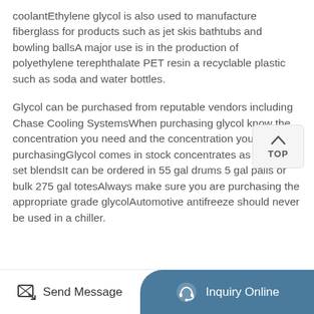coolantEthylene glycol is also used to manufacture fiberglass for products such as jet skis bathtubs and bowling ballsA major use is in the production of polyethylene terephthalate PET resin a recyclable plastic such as soda and water bottles.
Glycol can be purchased from reputable vendors including Chase Cooling SystemsWhen purchasing glycol know the concentration you need and the concentration you are purchasingGlycol comes in stock concentrates as well as in set blendsIt can be ordered in 55 gal drums 5 gal pails or bulk 275 gal totesAlways make sure you are purchasing the appropriate grade glycolAutomotive antifreeze should never be used in a chiller.
[Figure (other): TOP navigation button with upward arrow chevron]
Send Message | Inquiry Online